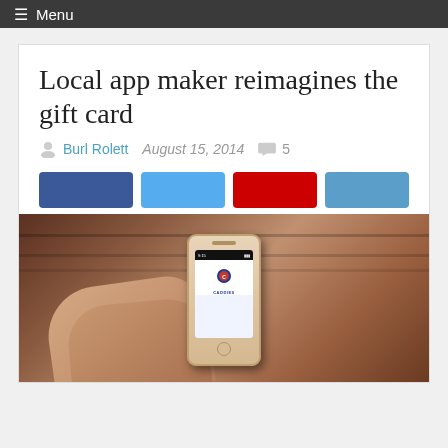≡ Menu
Local app maker reimagines the gift card
Burl Rolett   August 15, 2014   5
[Figure (other): Four social share buttons: Facebook (dark blue), Twitter (light blue), Google+ (red), LinkedIn (medium blue)]
[Figure (photo): A hand holding an iPhone displaying an app with the Caddies logo on screen, photographed against a reddish-brown background]